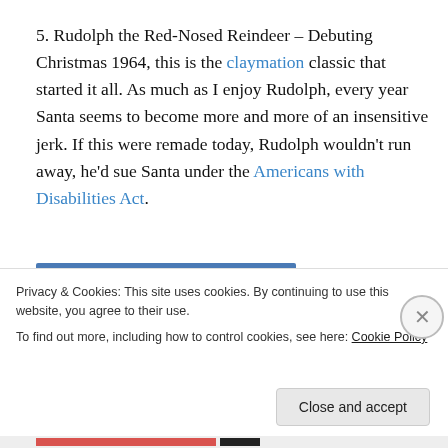5. Rudolph the Red-Nosed Reindeer – Debuting Christmas 1964, this is the claymation classic that started it all. As much as I enjoy Rudolph, every year Santa seems to become more and more of an insensitive jerk. If this were remade today, Rudolph wouldn't run away, he'd sue Santa under the Americans with Disabilities Act.
[Figure (photo): Partial blue image strip visible at top of cookie banner area]
Privacy & Cookies: This site uses cookies. By continuing to use this website, you agree to their use.
To find out more, including how to control cookies, see here: Cookie Policy
Close and accept